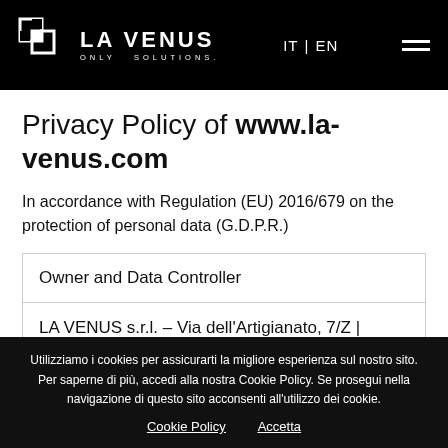LA VENUS ONLY SOLUTIONS. IT | EN
Privacy Policy of www.la-venus.com
In accordance with Regulation (EU) 2016/679 on the protection of personal data (G.D.P.R.)
Owner and Data Controller
LA VENUS s.r.l. – Via dell'Artigianato, 7/Z |
Utilizziamo i cookies per assicurarti la migliore esperienza sul nostro sito. Per saperne di più, accedi alla nostra Cookie Policy. Se prosegui nella navigazione di questo sito acconsenti all'utilizzo dei cookie.
Cookie Policy   Accetta